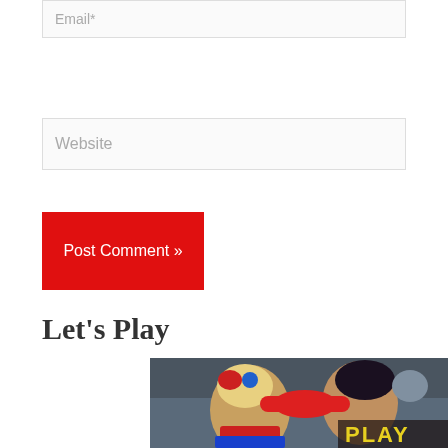Email*
Website
Post Comment »
Let's Play
[Figure (illustration): Colorful illustration of two comic book characters (Harley Quinn and Wonder Woman) with a 'PLAY' label in yellow text at the bottom right corner.]